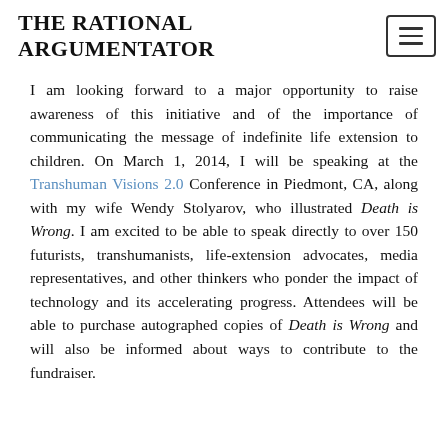THE RATIONAL ARGUMENTATOR
I am looking forward to a major opportunity to raise awareness of this initiative and of the importance of communicating the message of indefinite life extension to children. On March 1, 2014, I will be speaking at the Transhuman Visions 2.0 Conference in Piedmont, CA, along with my wife Wendy Stolyarov, who illustrated Death is Wrong. I am excited to be able to speak directly to over 150 futurists, transhumanists, life-extension advocates, media representatives, and other thinkers who ponder the impact of technology and its accelerating progress. Attendees will be able to purchase autographed copies of Death is Wrong and will also be informed about ways to contribute to the fundraiser.